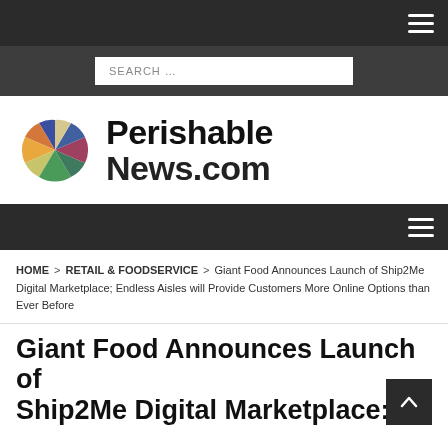PerishableNews.com - navigation bar with hamburger menu
[Figure (screenshot): Search bar with placeholder text SEARCH ...]
[Figure (logo): PerishableNews.com logo with colorful pinwheel icon and bold text]
Navigation bar with hamburger menu
HOME > RETAIL & FOODSERVICE > Giant Food Announces Launch of Ship2Me Digital Marketplace; Endless Aisles will Provide Customers More Online Options than Ever Before
Giant Food Announces Launch of Ship2Me Digital Marketplace: